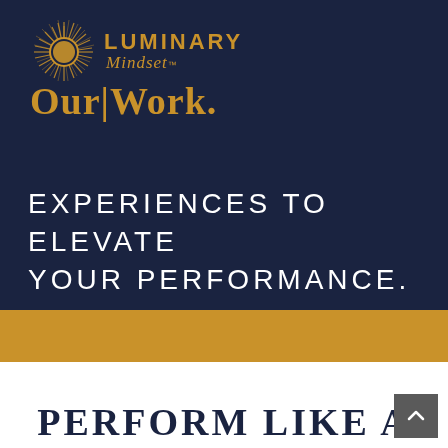[Figure (logo): Luminary Mindset logo with sun/starburst icon, text reading LUMINARY Mindset™ and Our Work.]
EXPERIENCES TO ELEVATE YOUR PERFORMANCE.
[Figure (illustration): Gold/amber horizontal bar dividing the dark navy section from white section below]
PERFORM LIKE A